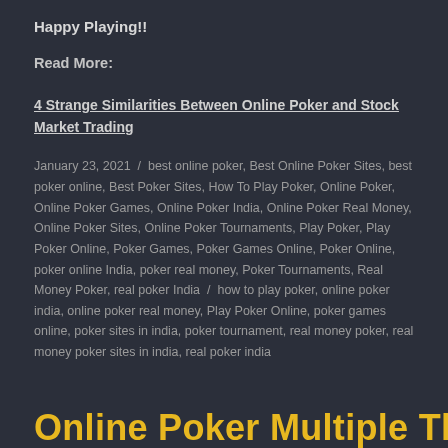Happy Playing!!
Read More:
4 Strange Similarities Between Online Poker and Stock Market Trading
January 23, 2021  /  best online poker, Best Online Poker Sites, best poker online, Best Poker Sites, How To Play Poker, Online Poker, Online Poker Games, Online Poker India, Online Poker Real Money, Online Poker Sites, Online Poker Tournaments, Play Poker, Play Poker Online, Poker Games, Poker Games Online, Poker Online, poker online India, poker real money, Poker Tournaments, Real Money Poker, real poker India  /  how to play poker, online poker india, online poker real money, Play Poker Online, poker games online, poker sites in india, poker tournament, real money poker, real money poker sites in india, real poker india
Online Poker Multiple Things